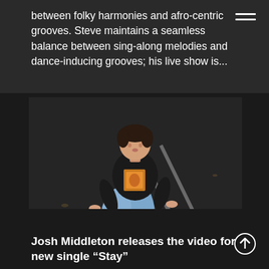between folky harmonies and afro-centric grooves. Steve maintains a seamless balance between sing-along melodies and dance-inducing grooves; his live show is...
[Figure (photo): Young man in a black hoodie with graphic print, wearing light blue jeans and white sneakers, sitting on a dark pavement surface with white road markings, viewed from above at a slight angle.]
Josh Middleton releases the video for new single “Stay”